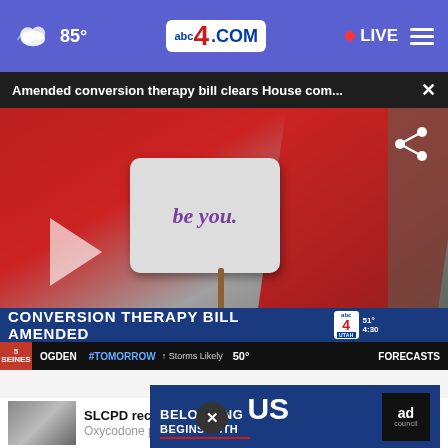85° abc4.com LIVE
Amended conversion therapy bill clears House com...
[Figure (screenshot): News video still showing protest sign reading 'be you.' against red backdrop, with lower-third graphic reading 'CONVERSION THERAPY BILL AMENDED' and ticker showing OGDEN weather 50°, branded abc4 UTAH]
SLCPD recovers guns, heroin, cocaine, Oxycodone pills
[Figure (screenshot): Ad Council advertisement: BELONGING BEGINS WITH US]